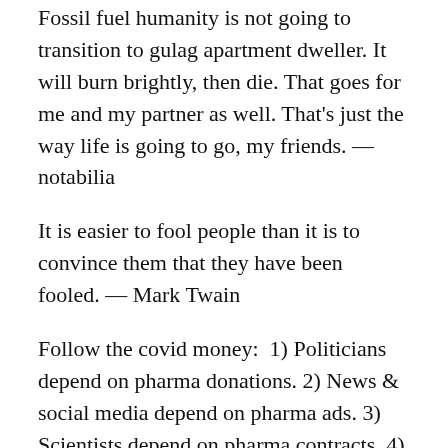Fossil fuel humanity is not going to transition to gulag apartment dweller. It will burn brightly, then die. That goes for me and my partner as well. That’s just the way life is going to go, my friends. — notabilia
It is easier to fool people than it is to convince them that they have been fooled. — Mark Twain
Follow the covid money:  1) Politicians depend on pharma donations. 2) News & social media depend on pharma ads. 3) Scientists depend on pharma contracts. 4) Pharma CEOs depend on profit growth. 5) Regulators depend on pharma royalties.
The Ukraine conflict will accelerate the